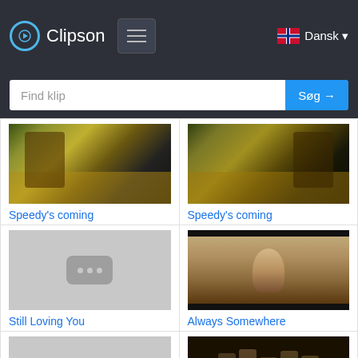[Figure (screenshot): Clipson website navigation bar with logo, hamburger menu, Dansk language selector, and search bar]
[Figure (photo): Thumbnail of guitar player - Speedy's coming]
Speedy's coming
[Figure (photo): Thumbnail of guitar player - Speedy's coming]
Speedy's coming
[Figure (photo): Placeholder thumbnail with dots icon - Still Loving You]
Still Loving You
[Figure (photo): Sepia portrait of woman - Always Somewhere]
Always Somewhere
[Figure (photo): Placeholder thumbnail with dots icon]
[Figure (photo): Band photo in sepia tones]